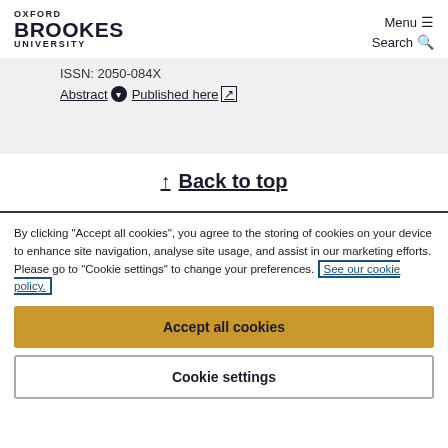Oxford Brookes University — Menu ☰ Search 🔍
ISSN: 2050-084X
Abstract ▾  Published here ↗
↑ Back to top
By clicking "Accept all cookies", you agree to the storing of cookies on your device to enhance site navigation, analyse site usage, and assist in our marketing efforts. Please go to "Cookie settings" to change your preferences. See our cookie policy.
Accept all cookies
Cookie settings